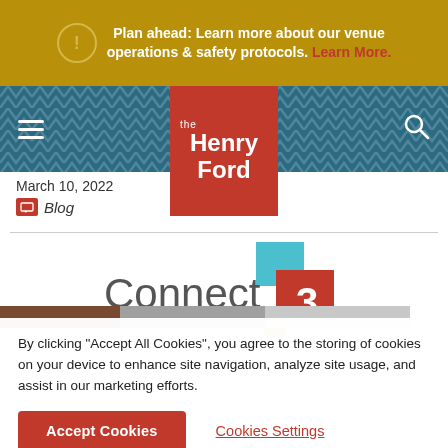Plan ahead: Learn more about our venue operations & safety protocols. Learn More.
[Figure (logo): The Henry Ford museum logo — red square with white text reading 'the Henry Ford']
March 10, 2022
Blog
[Figure (logo): Connect 3 logo with teal, red/orange, and gold colored squares]
By clicking "Accept All Cookies", you agree to the storing of cookies on your device to enhance site navigation, analyze site usage, and assist in our marketing efforts.
Accept Cookies
Cookies Settings